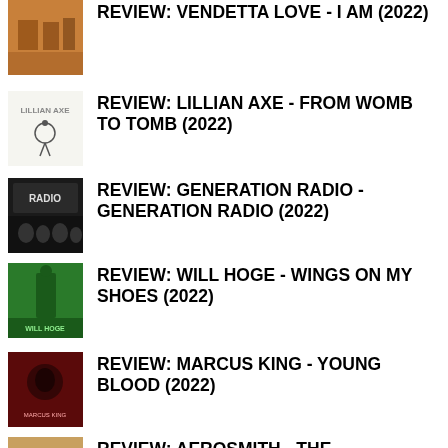REVIEW: VENDETTA LOVE - I AM (2022)
REVIEW: LILLIAN AXE - FROM WOMB TO TOMB (2022)
REVIEW: GENERATION RADIO - GENERATION RADIO (2022)
REVIEW: WILL HOGE - WINGS ON MY SHOES (2022)
REVIEW: MARCUS KING - YOUNG BLOOD (2022)
REVIEW: AEROSMITH - THE